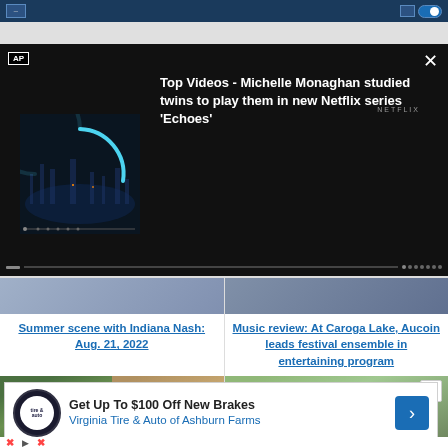Browser top bar with tab
[Figure (screenshot): AP video player showing Netflix content preview with circular loading indicator. Title overlay: 'Top Videos - Michelle Monaghan studied twins to play them in new Netflix series Echoes']
Top Videos - Michelle Monaghan studied twins to play them in new Netflix series 'Echoes'
Summer scene with Indiana Nash: Aug. 21, 2022
Music review: At Caroga Lake, Aucoin leads festival ensemble in entertaining program
[Figure (photo): Two food photos side by side: gnocchi with green beans and pasta bolognese]
[Figure (photo): Three people sitting on grass with a dog]
Get Up To $100 Off New Brakes - Virginia Tire & Auto of Ashburn Farms (advertisement)